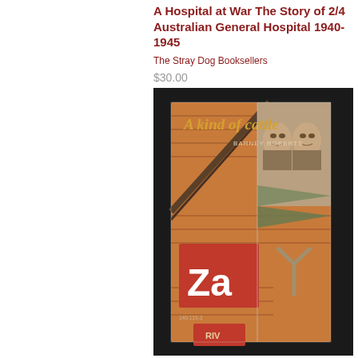A Hospital at War The Story of 2/4 Australian General Hospital 1940-1945
The Stray Dog Booksellers
$30.00
[Figure (photo): Photo of a book titled 'A kind of cattle' by Barney Roberts, showing the book cover with illustrations of two soldiers' faces, a 'Za' label with element number 140.115-3, a red RIV label, and geometric shapes including triangles and a Y-shape, all on a wooden background. The book appears wrapped in plastic.]